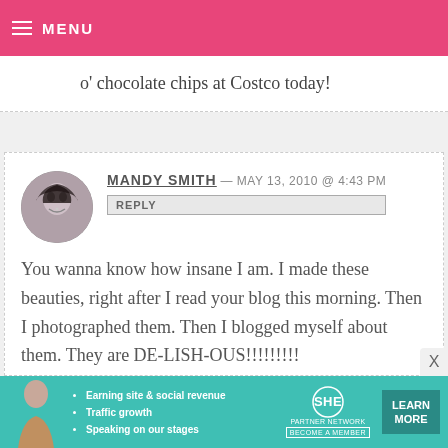MENU
o' chocolate chips at Costco today!
MANDY SMITH — MAY 13, 2010 @ 4:43 PM
REPLY
You wanna know how insane I am. I made these beauties, right after I read your blog this morning. Then I photographed them. Then I blogged myself about them. They are DE-LISH-OUS!!!!!!!!! Thank you Bakerella!!!!
[Figure (photo): Circular avatar photo of Mandy Smith, dark hair, looking down, black and white style]
• Earning site & social revenue
• Traffic growth
• Speaking on our stages
SHE PARTNER NETWORK BECOME A MEMBER
LEARN MORE